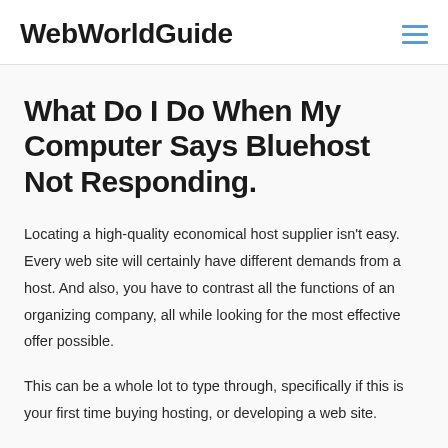WebWorldGuide
What Do I Do When My Computer Says Bluehost Not Responding.
Locating a high-quality economical host supplier isn't easy. Every web site will certainly have different demands from a host. And also, you have to contrast all the functions of an organizing company, all while looking for the most effective offer possible.
This can be a whole lot to type through, specifically if this is your first time buying hosting, or developing a web site.